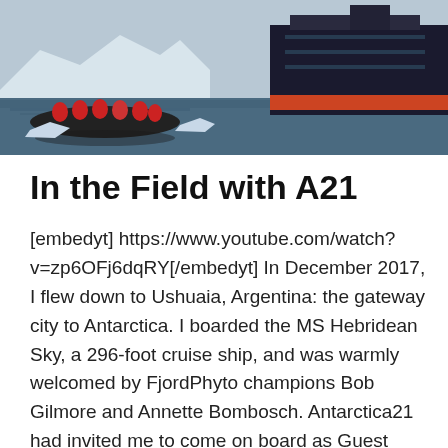[Figure (photo): Photograph of a small inflatable boat with people in red jackets on arctic/antarctic waters, with a large dark cruise ship visible on the right side, icy landscape in background.]
In the Field with A21
[embedyt] https://www.youtube.com/watch?v=zp6OFj6dqRY[/embedyt] In December 2017, I flew down to Ushuaia, Argentina: the gateway city to Antarctica. I boarded the MS Hebridean Sky, a 296-foot cruise ship, and was warmly welcomed by FjordPhyto champions Bob Gilmore and Annette Bombosch. Antarctica21 had invited me to come on board as Guest Scientist to oversee the FjordPhyto citizen science project, and to